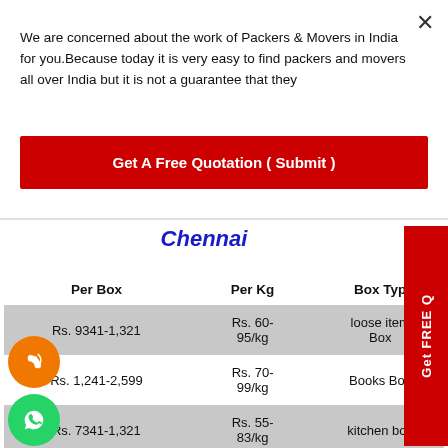We are concerned about the work of Packers & Movers in India for you.Because today it is very easy to find packers and movers all over India but it is not a guarantee that they
Get A Free Quotation ( Submit )
Chennai
| Per Box | Per Kg | Box Type |
| --- | --- | --- |
| Rs. 9341-1,321 | Rs. 60-95/kg | loose item Box |
| Rs. 1,241-2,599 | Rs. 70-99/kg | Books Box |
| Rs. 7341-1,321 | Rs. 55-83/kg | kitchen box |
| Rs. 5341-1,321 | Rs. 40-80/kg | cloth box |